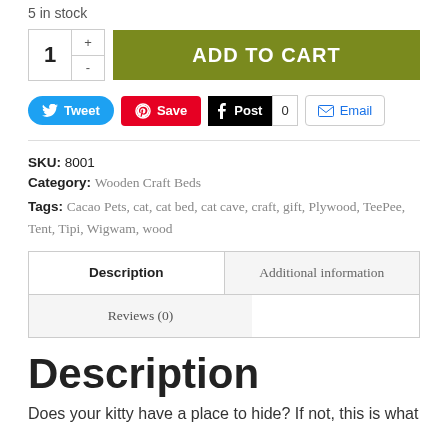5 in stock
[Figure (screenshot): Add to cart UI with quantity selector showing 1 and an olive-green ADD TO CART button]
[Figure (screenshot): Social sharing buttons: Tweet, Save, Post 0, Email]
SKU: 8001
Category: Wooden Craft Beds
Tags: Cacao Pets, cat, cat bed, cat cave, craft, gift, Plywood, TeePee, Tent, Tipi, Wigwam, wood
| Description | Additional information |
| --- | --- |
| Reviews (0) |  |
Description
Does your kitty have a place to hide? If not, this is what